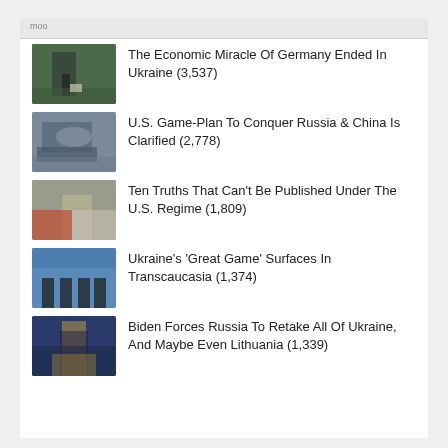moo
The Economic Miracle Of Germany Ended In Ukraine (3,537)
U.S. Game-Plan To Conquer Russia & China Is Clarified (2,778)
Ten Truths That Can't Be Published Under The U.S. Regime (1,809)
Ukraine's 'Great Game' Surfaces In Transcaucasia (1,374)
Biden Forces Russia To Retake All Of Ukraine, And Maybe Even Lithuania (1,339)